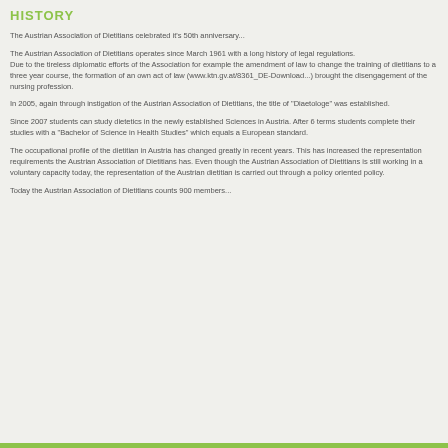HISTORY
The Austrian Association of Dietitians celebrated it's 50th anniversary...
The Austrian Association of Dietitians operates since March 1961 with a long history of legal regulations. Due to the tireless diplomatic efforts of the Association for example the amendment of law to change the training of dietitians to a three year course, the formation of an own act of law (www.ktn.gv.at/8361_DE-Download...) brought the disengagement of the nursing profession.
In 2005, again through instigation of the Austrian Association of Dietitians, the title of "Diaetologe" was established.
Since 2007 students can study dietetics in the newly established Sciences in Austria. After 6 terms students complete their studies with a "Bachelor of Science in Health Studies" which equals a European standard.
The occupational profile of the dietitian in Austria has changed greatly in recent years. This has increased the representation requirements the Austrian Association of Dietitians has. Even though the Austrian Association of Dietitians is still working in a voluntary capacity today, the representation of the Austrian dietitian is carried out through a policy oriented policy.
Today the Austrian Association of Dietitians counts 900 members...